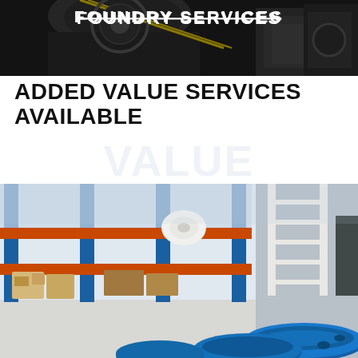[Figure (photo): Industrial foundry/manufacturing facility interior showing machinery, dark tones with yellow accent, top banner image]
ADDED VALUE SERVICES AVAILABLE
[Figure (photo): Warehouse shelving with blue metal racks and orange horizontal rails holding boxes and supplies; foreground shows blue circular pipe flanges/rings on a light floor]